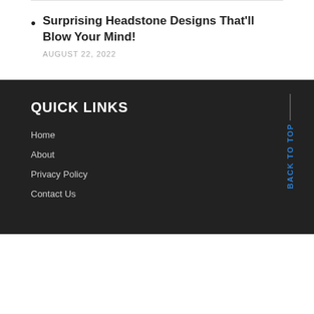Surprising Headstone Designs That'll Blow Your Mind! AUGUST 22, 2022
QUICK LINKS
Home
About
Privacy Policy
Contact Us